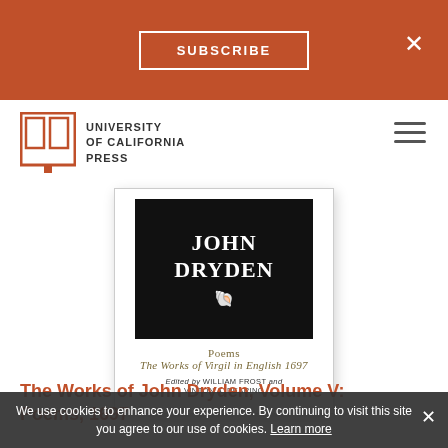SUBSCRIBE
[Figure (logo): University of California Press logo with open book icon]
[Figure (photo): Book cover for The Works of John Dryden, Volume V: Poems, 1697. Black cover with white text reading JOHN DRYDEN, subtitle Poems, The Works of Virgil in English 1697, Edited by WILLIAM FROST and VINTON A. DEARING]
The Works of John Dryden, Volume V: Poems, 1697
We use cookies to enhance your experience. By continuing to visit this site you agree to our use of cookies. Learn more